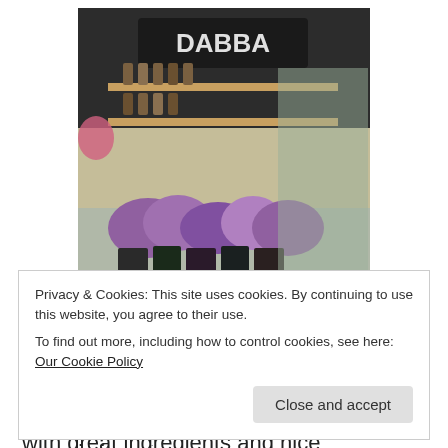[Figure (photo): Photo of a cosmetics store display (Dabba brand) showing shelves with products and potted heather plants on a counter]
Dabba
Kivvi Organics is another Latvian brand with great ingredients and nice packaging. In Germany Kivvi is exclusively available through Hilla Naturkosmetik, an
Privacy & Cookies: This site uses cookies. By continuing to use this website, you agree to their use.
To find out more, including how to control cookies, see here: Our Cookie Policy
Close and accept
their products but more like must-see organic beauty...